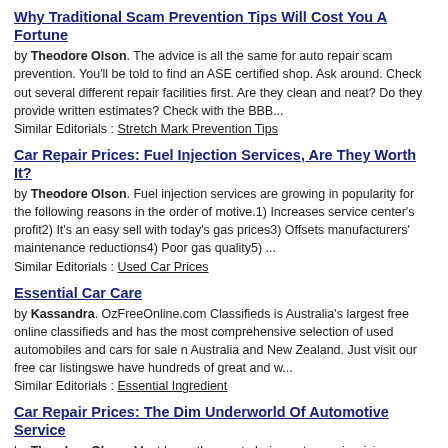Why Traditional Scam Prevention Tips Will Cost You A Fortune
by Theodore Olson. The advice is all the same for auto repair scam prevention. You'll be told to find an ASE certified shop. Ask around. Check out several different repair facilities first. Are they clean and neat? Do they provide written estimates? Check with the BBB...
Similar Editorials : Stretch Mark Prevention Tips
Car Repair Prices: Fuel Injection Services, Are They Worth It?
by Theodore Olson. Fuel injection services are growing in popularity for the following reasons in the order of motive.1) Increases service center's profit2) It's an easy sell with today's gas prices3) Offsets manufacturers' maintenance reductions4) Poor gas quality5) ...
Similar Editorials : Used Car Prices
Essential Car Care
by Kassandra. OzFreeOnline.com Classifieds is Australia's largest free online classifieds and has the most comprehensive selection of used automobiles and cars for sale n Australia and New Zealand. Just visit our free car listingswe have hundreds of great and w...
Similar Editorials : Essential Ingredient
Car Repair Prices: The Dim Underworld Of Automotive Service
by Theodore Olson. Most know the most glaring auto repair pricing abuses: Service centers overcharging $100's even $1000's for repairs, or charging for repairs that were never done at all.To be sure, this still happens every day. However, there are many other techniqu...
Similar Editorials : Car Prices